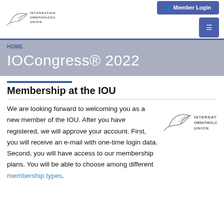[Figure (logo): International Ornithologists' Union logo with bird silhouette, top left]
Member Login | Menu
HOME
IOCongress® 2022
Membership at the IOU
We are looking forward to welcoming you as a new member of the IOU. After you have registered, we will approve your account. First, you will receive an e-mail with one-time login data. Second, you will have access to our membership plans. You will be able to choose among different membership types.
[Figure (logo): International Ornithologists' Union logo with bird silhouette, right side of text]